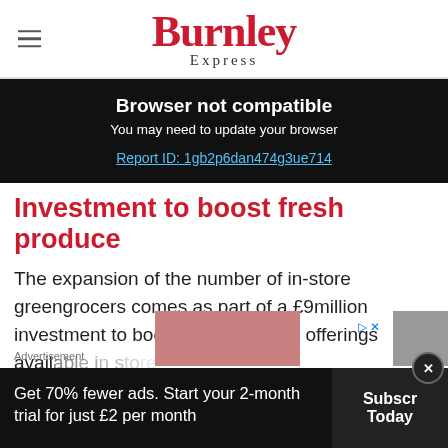Burnley Express
[Figure (screenshot): Browser not compatible warning banner: 'Browser not compatible — You may need to update your browser — Report ID: 1gb2p6dan474g3ue714']
Investment to boost fresh produce
The expansion of the number of in-store greengrocers comes as part of a £9million investment to boost the fresh food offerings available in store.
Get 70% fewer ads. Start your 2-month trial for just £2 per month